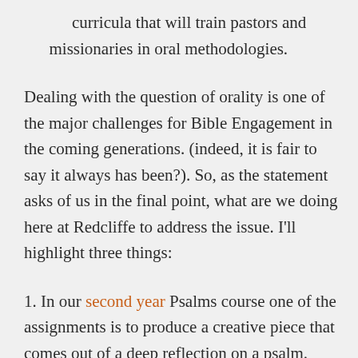curricula that will train pastors and missionaries in oral methodologies.
Dealing with the question of orality is one of the major challenges for Bible Engagement in the coming generations. (indeed, it is fair to say it always has been?). So, as the statement asks of us in the final point, what are we doing here at Redcliffe to address the issue. I'll highlight three things:
1. In our second year Psalms course one of the assignments is to produce a creative piece that comes out of a deep reflection on a psalm. Students